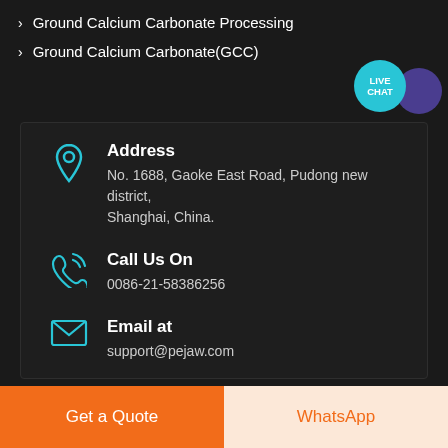Ground Calcium Carbonate Processing
Ground Calcium Carbonate(GCC)
Address
No. 1688, Gaoke East Road, Pudong new district, Shanghai, China.
Call Us On
0086-21-58386256
Email at
support@pejaw.com
Get a Quote
WhatsApp